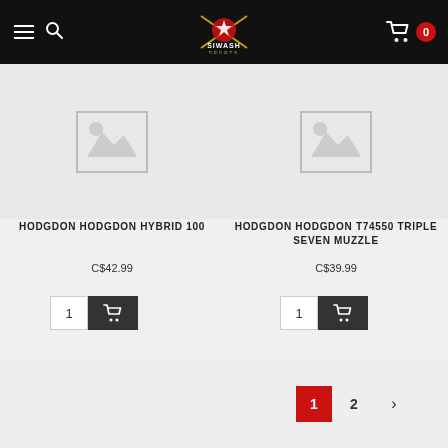Siwash Sports navigation header with menu, search, logo, cart (0)
[Figure (screenshot): Product image placeholder for Hodgdon Hybrid 100 — grey box with mountain/image icon]
HODGDON HODGDON HYBRID 100
C$42.99
[Figure (screenshot): Product image placeholder for Hodgdon T74550 Triple Seven Muzzle — grey box with mountain/image icon]
HODGDON HODGDON T74550 TRIPLE SEVEN MUZZLE
C$39.99
Pagination: 1 2 >